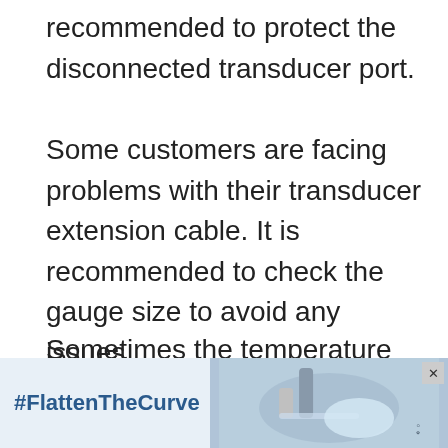recommended to protect the disconnected transducer port.
Some customers are facing problems with their transducer extension cable. It is recommended to check the gauge size to avoid any issues.
Sometimes the temperature probe in the transducer causes the device not to re... [partially obscured] need to cl...
[Figure (other): Advertisement banner showing #FlattenTheCurve with an image of hands washing under a faucet and a logo watermark]